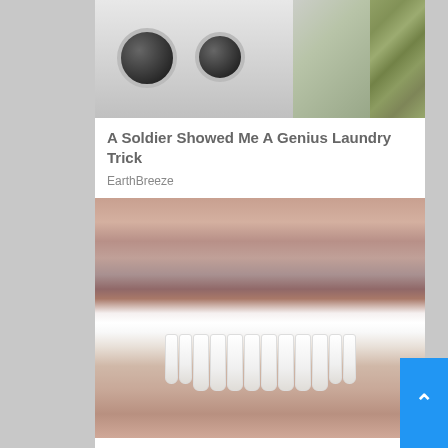[Figure (photo): Photo of a person in military camouflage uniform standing near laundry machines (washers/dryers)]
A Soldier Showed Me A Genius Laundry Trick
EarthBreeze
[Figure (photo): Close-up photo of a man's smile showing very white teeth dental implants, with stubble beard and nose visible]
Full Mouth Dental Implants (Take a Look at the Prices)